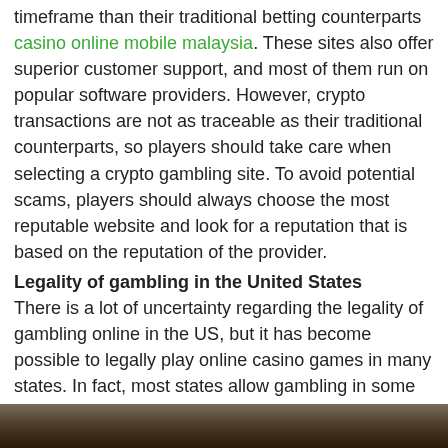timeframe than their traditional betting counterparts casino online mobile malaysia. These sites also offer superior customer support, and most of them run on popular software providers. However, crypto transactions are not as traceable as their traditional counterparts, so players should take care when selecting a crypto gambling site. To avoid potential scams, players should always choose the most reputable website and look for a reputation that is based on the reputation of the provider.
Legality of gambling in the United States
There is a lot of uncertainty regarding the legality of gambling online in the US, but it has become possible to legally play online casino games in many states. In fact, most states allow gambling in some form, and some have even legalized sports betting. Nevada has long been a gambling friendly state, and is home to some of the finest casinos in the world. Although the federal ban on sports betting was lifted only three years ago, gambling online is not yet legal in every state.
[Figure (photo): Dark photo strip at bottom of page]